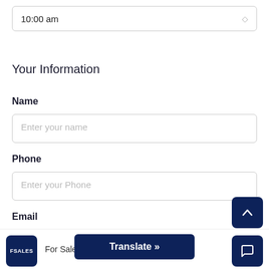10:00 am
Your Information
Name
Enter your name
Phone
Enter your Phone
Email
FSALES  For Sale By Owner  Translate »